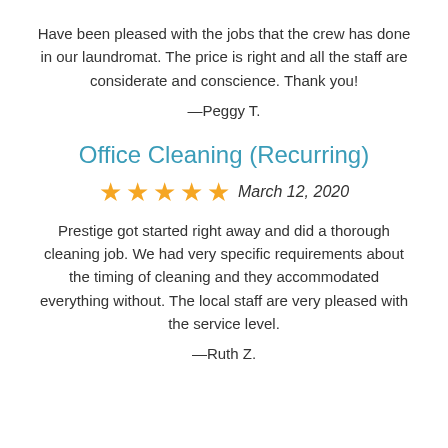Have been pleased with the jobs that the crew has done in our laundromat. The price is right and all the staff are considerate and conscience. Thank you!
—Peggy T.
Office Cleaning (Recurring)
★★★★★ March 12, 2020
Prestige got started right away and did a thorough cleaning job. We had very specific requirements about the timing of cleaning and they accommodated everything without. The local staff are very pleased with the service level.
—Ruth Z.